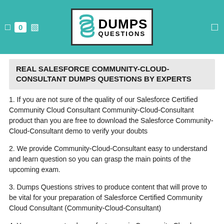0  [icon]  DUMPS QUESTIONS logo
REAL SALESFORCE COMMUNITY-CLOUD-CONSULTANT DUMPS QUESTIONS BY EXPERTS
1. If you are not sure of the quality of our Salesforce Certified Community Cloud Consultant Community-Cloud-Consultant product than you are free to download the Salesforce Community-Cloud-Consultant demo to verify your doubts
2. We provide Community-Cloud-Consultant easy to understand and learn question so you can grasp the main points of the upcoming exam.
3. Dumps Questions strives to produce content that will prove to be vital for your preparation of Salesforce Certified Community Cloud Consultant (Community-Cloud-Consultant)
4. You are guaranteed a perfect score in Community-Cloud-Consultant exam while preparing from the material we provide you.